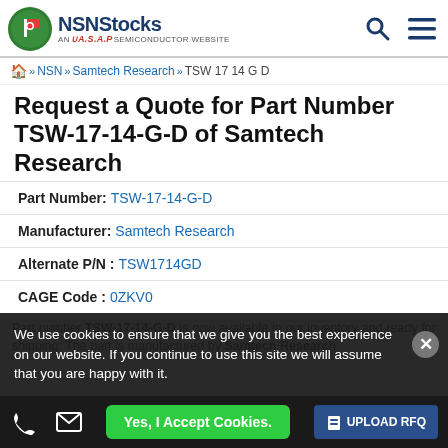NSNStocks — AN A.S.A.P SEMICONDUCTOR WEBSITE
Home >> NSN >> Samtech Research >> TSW 17 14 G D
Request a Quote for Part Number TSW-17-14-G-D of Samtech Research
Part Number: TSW-17-14-G-D
Manufacturer: Samtech Research
Alternate P/N: TSW1714GD
CAGE Code: 0ZKV0
Part number TSW-17-14-G-D is now available in our inventory and ready for shipping. The part is manufactured by Samtech Research...
We use cookies to ensure that we give you the best experience on our website. If you continue to use this site we will assume that you are happy with it.